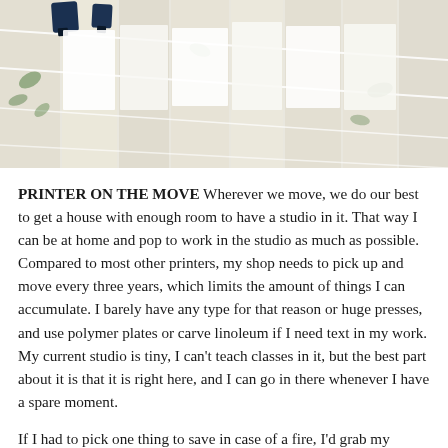[Figure (photo): Close-up photo of papers or fabric swatches hung with clips on a wire/rod rack, showing white and green patterned materials arranged at an angle against a light background.]
PRINTER ON THE MOVE Wherever we move, we do our best to get a house with enough room to have a studio in it. That way I can be at home and pop to work in the studio as much as possible. Compared to most other printers, my shop needs to pick up and move every three years, which limits the amount of things I can accumulate. I barely have any type for that reason or huge presses, and use polymer plates or carve linoleum if I need text in my work. My current studio is tiny, I can't teach classes in it, but the best part about it is that it is right here, and I can go in there whenever I have a spare moment.
If I had to pick one thing to save in case of a fire, I'd grab my Morgan Lin-o-scribe press. I think everything else I could bare to